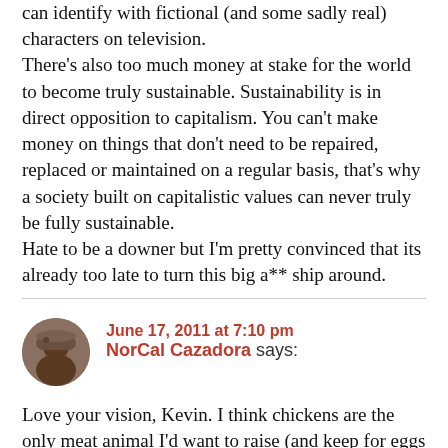can identify with fictional (and some sadly real) characters on television.
There's also too much money at stake for the world to become truly sustainable. Sustainability is in direct opposition to capitalism. You can't make money on things that don't need to be repaired, replaced or maintained on a regular basis, that's why a society built on capitalistic values can never truly be fully sustainable.
Hate to be a downer but I'm pretty convinced that its already too late to turn this big a** ship around.
June 17, 2011 at 7:10 pm
NorCal Cazadora says:
Love your vision, Kevin. I think chickens are the only meat animal I'd want to raise (and keep for eggs too). I'd do goats for milk –